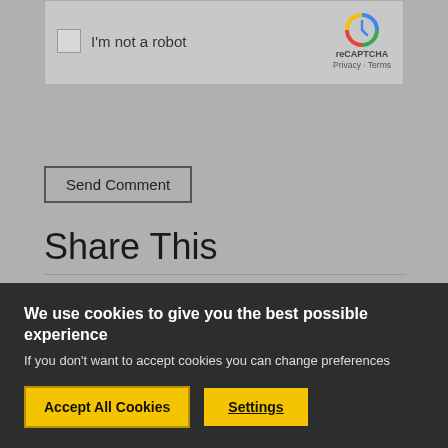[Figure (screenshot): reCAPTCHA widget showing checkbox labeled 'I'm not a robot' with reCAPTCHA logo, Privacy and Terms links]
Send Comment
Share This
[Figure (infographic): Social share icons: RSS (orange), Twitter (blue), Facebook (dark blue)]
We use cookies to give you the best possible experience
If you don't want to accept cookies you can change preferences
Accept All Cookies
Settings